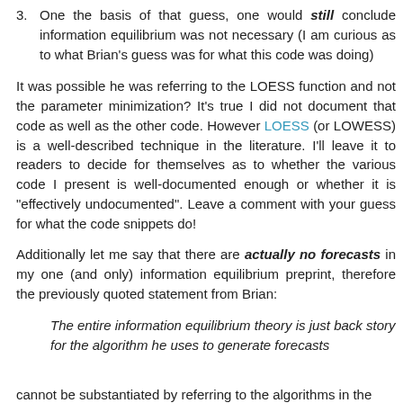3. One the basis of that guess, one would still conclude information equilibrium was not necessary (I am curious as to what Brian's guess was for what this code was doing)
It was possible he was referring to the LOESS function and not the parameter minimization? It's true I did not document that code as well as the other code. However LOESS (or LOWESS) is a well-described technique in the literature. I'll leave it to readers to decide for themselves as to whether the various code I present is well-documented enough or whether it is "effectively undocumented". Leave a comment with your guess for what the code snippets do!
Additionally let me say that there are actually no forecasts in my one (and only) information equilibrium preprint, therefore the previously quoted statement from Brian:
The entire information equilibrium theory is just back story for the algorithm he uses to generate forecasts
cannot be substantiated by referring to the algorithms in the